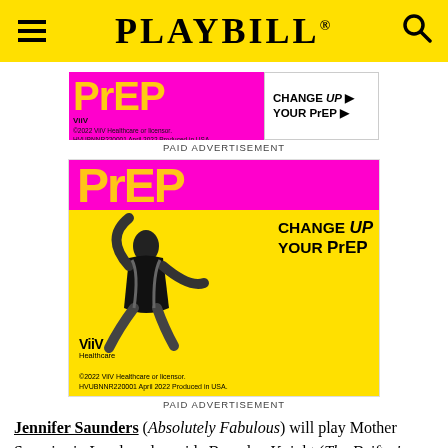PLAYBILL
[Figure (infographic): PrEP 'Change Up Your PrEP' ViiV Healthcare banner advertisement - small version. Pink/magenta background on left with yellow PrEP text, white section on right with 'CHANGE UP YOUR PrEP' text and arrow. ©2022 ViiV Healthcare or licensor. HVUBNNR220001 April 2022 Produced in USA.]
PAID ADVERTISEMENT
[Figure (infographic): Large PrEP 'Change Up Your PrEP' ViiV Healthcare advertisement. Yellow background with pink/magenta header showing PrEP logo. Image of a person dancing/jumping in stylized clothing. Text reads 'CHANGE UP YOUR PrEP'. ViiV Healthcare logo bottom left. ©2022 ViiV Healthcare or licensor. HVUBNNR220001 April 2022 Produced in USA.]
PAID ADVERTISEMENT
Jennifer Saunders (Absolutely Fabulous) will play Mother Superior in London alongside Beverley Knight (The Drifter's Girl) as Deloris Van Cartier. Keala Settle (Waitress, & Juliet)